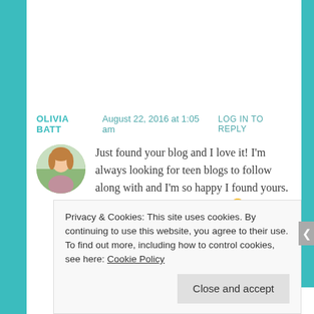OLIVIA BATT  August 22, 2016 at 1:05 am  LOG IN TO REPLY
[Figure (photo): Circular avatar photo of a young woman with long hair, outdoors with green background]
Just found your blog and I love it! I'm always looking for teen blogs to follow along with and I'm so happy I found yours. Keep following your dreams! 🙂
★ Liked by 1 person
Privacy & Cookies: This site uses cookies. By continuing to use this website, you agree to their use.
To find out more, including how to control cookies, see here: Cookie Policy